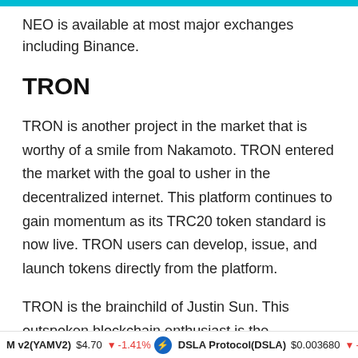NEO is available at most major exchanges including Binance.
TRON
TRON is another project in the market that is worthy of a smile from Nakamoto. TRON entered the market with the goal to usher in the decentralized internet. This platform continues to gain momentum as its TRC20 token standard is now live. TRON users can develop, issue, and launch tokens directly from the platform.
TRON is the brainchild of Justin Sun. This outspoken blockchain enthusiast is the apprentice of the world's richest man, Jack Ma. Sun graduated from Ma's exclusive business college and is privy to his global network connections. Perhaps this is why TRON has such a strong
M v2(YAMV2)  $4.70  ↓  -1.41%  ⚡  DSLA Protocol(DSLA)  $0.003680  ↓  -6.82%